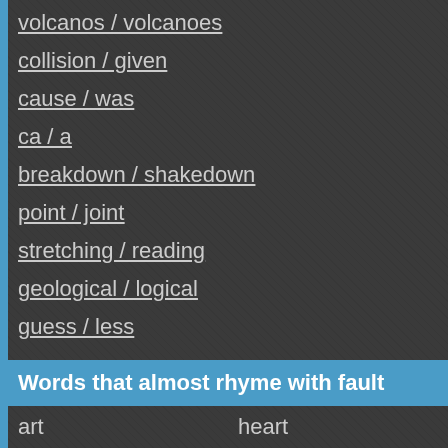volcanos / volcanoes
collision / given
cause / was
ca / a
breakdown / shakedown
point / joint
stretching / reading
geological / logical
guess / less
Words that almost rhyme with fault
| art | heart |
| short | sort |
| fort | hauled |
| fart | hart |